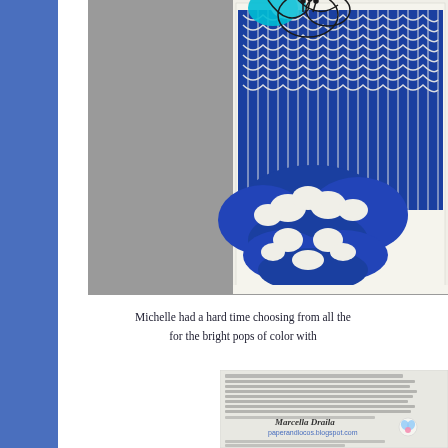[Figure (photo): Handmade card with intricate blue and white mandala/lace die-cut pattern and black line art flowers on top, photographed on a gray background]
Michelle had a hard time choosing from all the for the bright pops of color with
[Figure (photo): Bottom portion showing a card with text about love and friendship, featuring a signature 'Marcella Draila' and website 'paperandlocos.blogspot.com', with small flower/heart illustration]